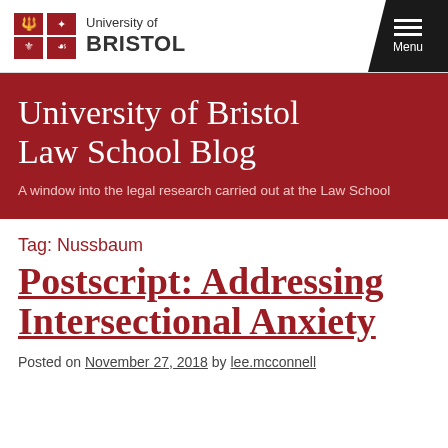University of Bristol — Menu
University of Bristol Law School Blog
A window into the legal research carried out at the Law School
Tag: Nussbaum
Postscript: Addressing Intersectional Anxiety
Posted on November 27, 2018 by lee.mcconnell